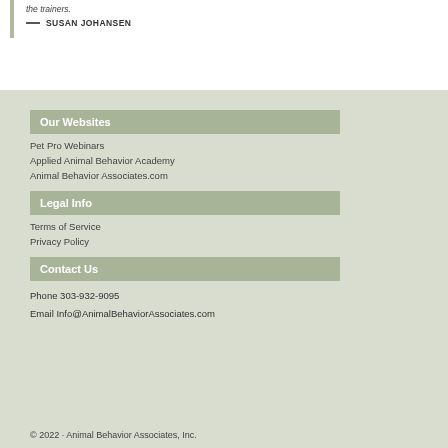the trainers.
— SUSAN JOHANSEN
Our Websites
Pet Pro Webinars
Applied Animal Behavior Academy
Animal Behavior Associates.com
Legal Info
Terms of Service
Privacy Policy
Contact Us
Phone 303-932-9095
Email Info@AnimalBehaviorAssociates.com
© 2022 · Animal Behavior Associates, Inc.